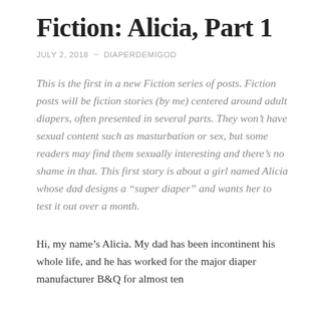Fiction: Alicia, Part 1
JULY 2, 2018 ~ DIAPERDEMIGOD
This is the first in a new Fiction series of posts. Fiction posts will be fiction stories (by me) centered around adult diapers, often presented in several parts. They won't have sexual content such as masturbation or sex, but some readers may find them sexually interesting and there's no shame in that. This first story is about a girl named Alicia whose dad designs a “super diaper” and wants her to test it out over a month.
Hi, my name’s Alicia. My dad has been incontinent his whole life, and he has worked for the major diaper manufacturer B&Q for almost ten